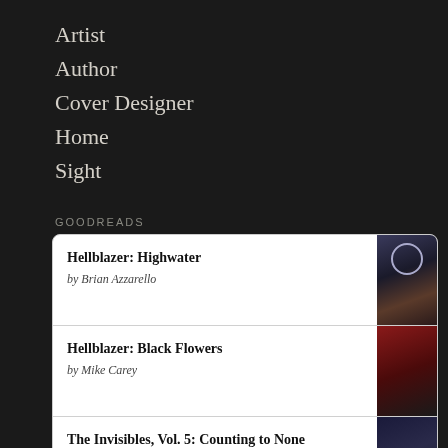Artist
Author
Cover Designer
Home
Sight
Goodreads
Hellblazer: Highwater
by Brian Azzarello
Hellblazer: Black Flowers
by Mike Carey
The Invisibles, Vol. 5: Counting to None
by Grant Morrison